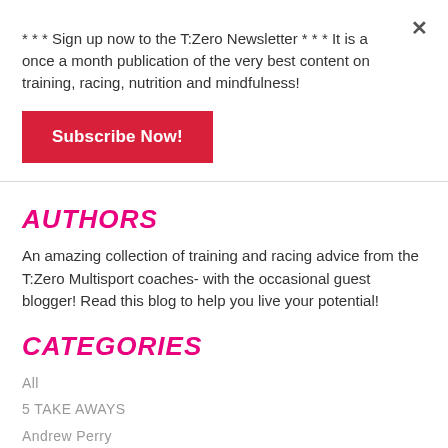* * * Sign up now to the T:Zero Newsletter * * * It is a once a month publication of the very best content on training, racing, nutrition and mindfulness!
Subscribe Now!
AUTHORS
An amazing collection of training and racing advice from the T:Zero Multisport coaches- with the occasional guest blogger! Read this blog to help you live your potential!
CATEGORIES
All
5 TAKE AWAYS
Andrew Perry